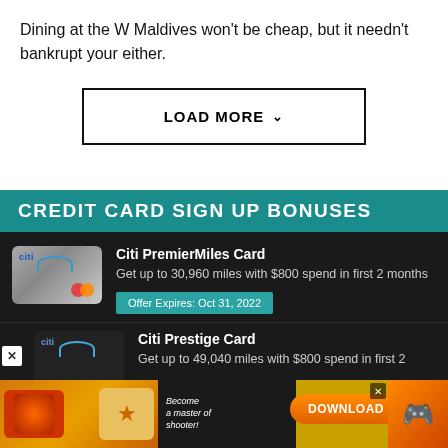Dining at the W Maldives won't be cheap, but it needn't bankrupt your either.
LOAD MORE ❯
CREDIT CARD SIGN UP BONUSES
Citi PremierMiles Card
Get up to 30,960 miles with $800 spend in first 2 months
Offer Expires: Oct 31, 2022
Citi Prestige Card
Get up to 49,040 miles with $800 spend in first 2
[Figure (screenshot): Advertisement banner showing 'Become a master of shooter! DOWNLOAD NOW' with app icon and gold background]
[Figure (illustration): Citi PremierMiles credit card image - silver/grey card with Mastercard logo]
[Figure (illustration): Citi Prestige credit card image - dark card with Citi branding]